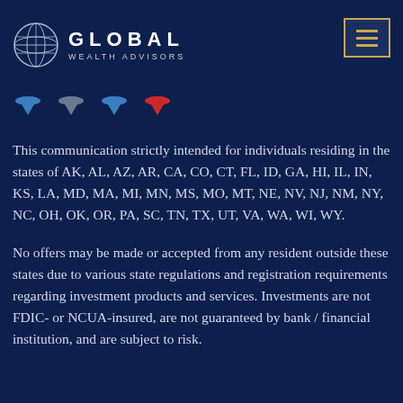GLOBAL WEALTH ADVISORS
This communication strictly intended for individuals residing in the states of AK, AL, AZ, AR, CA, CO, CT, FL, ID, GA, HI, IL, IN, KS, LA, MD, MA, MI, MN, MS, MO, MT, NE, NV, NJ, NM, NY, NC, OH, OK, OR, PA, SC, TN, TX, UT, VA, WA, WI, WY.
No offers may be made or accepted from any resident outside these states due to various state regulations and registration requirements regarding investment products and services. Investments are not FDIC- or NCUA-insured, are not guaranteed by bank / financial institution, and are subject to risk.